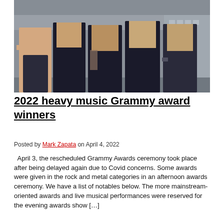[Figure (photo): Group photo of a heavy metal band, five members posing on a rooftop or urban setting, mostly wearing black clothing]
2022 heavy music Grammy award winners
Posted by Mark Zapata on April 4, 2022
April 3, the rescheduled Grammy Awards ceremony took place after being delayed again due to Covid concerns. Some awards were given in the rock and metal categories in an afternoon awards ceremony. We have a list of notables below. The more mainstream-oriented awards and live musical performances were reserved for the evening awards show [...]
[Figure (screenshot): Tweet button social sharing widget on grey background]
Read more
[Figure (infographic): Tally advertisement banner - Fast credit card payoff - Download Now button]